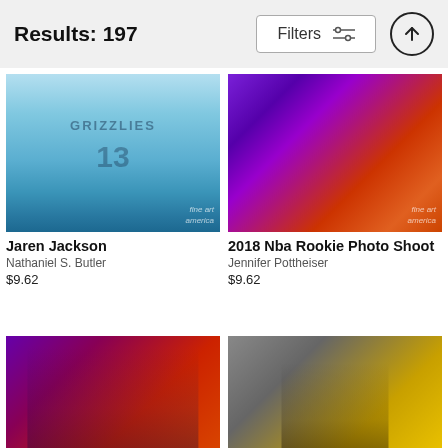Results: 197
[Figure (photo): Memphis Grizzlies player #13 Jaren Jackson in light blue jersey, sitting pose]
Jaren Jackson
Nathaniel S. Butler
$9.62
[Figure (photo): 2018 NBA Rookie Photo Shoot - players in purple Phoenix Suns jerseys posing on court with colorful backgrounds]
2018 Nba Rookie Photo Shoot
Jennifer Pottheiser
$9.62
[Figure (photo): NBA players in purple Phoenix Suns jerseys posing in front of purple and red background]
[Figure (photo): NBA player portrait with yellow background]